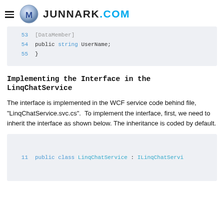JUNNARK.COM
[Figure (screenshot): Code snippet showing lines 54 and 55: public string UserName; and closing brace]
Implementing the Interface in the LinqChatService
The interface is implemented in the WCF service code behind file, "LinqChatService.svc.cs".  To implement the interface, first, we need to inherit the interface as shown below. The inheritance is coded by default.
[Figure (screenshot): Code snippet showing line 11: public class LinqChatService : ILinqChatServi]